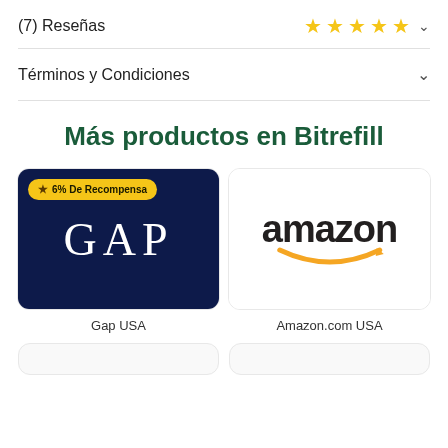(7) Reseñas
[Figure (other): Five gold star rating icons followed by a chevron/dropdown arrow]
Términos y Condiciones
Más productos en Bitrefill
[Figure (other): GAP USA gift card with dark navy background showing GAP logo in white serif letters, with a gold badge reading '6% De Recompensa' in top left corner]
Gap USA
[Figure (other): Amazon.com USA gift card with white background showing the amazon logo in black text with orange smile arrow]
Amazon.com USA